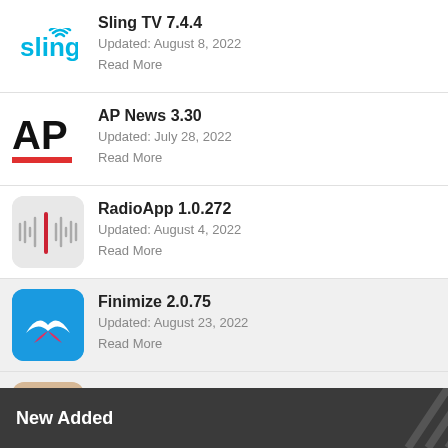Sling TV 7.4.4 | Updated: August 8, 2022 | Read More
AP News 3.30 | Updated: July 28, 2022 | Read More
RadioApp 1.0.272 | Updated: August 4, 2022 | Read More
Finimize 2.0.75 | Updated: August 23, 2022 | Read More
Clubhouse 22.08.25 | Updated: August 29, 2022 | Read More
New Added